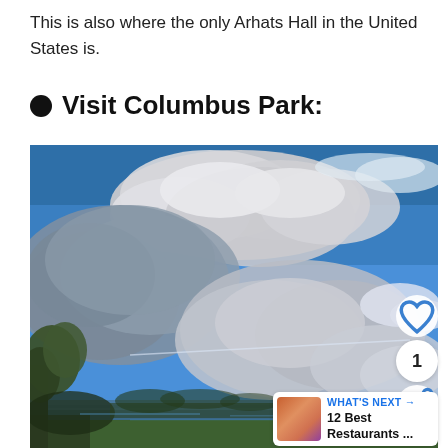This is also where the only Arhats Hall in the United States is.
Visit Columbus Park:
[Figure (photo): Outdoor photograph of Columbus Park showing a dramatic blue sky with large white and grey cumulus clouds, a lake or river shoreline, and trees in the foreground. UI overlay elements include a heart/like button, count of 1, share button, and a 'WHAT'S NEXT' card showing '12 Best Restaurants ...']